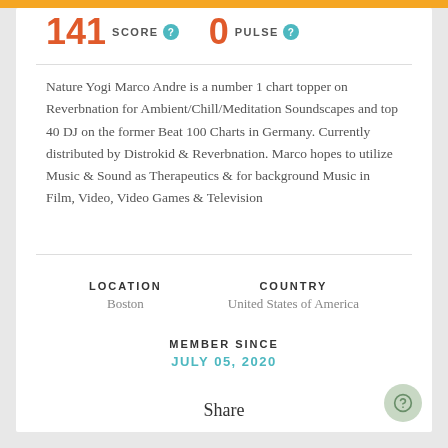141 SCORE ? 0 PULSE ?
Nature Yogi Marco Andre is a number 1 chart topper on Reverbnation for Ambient/Chill/Meditation Soundscapes and top 40 DJ on the former Beat 100 Charts in Germany. Currently distributed by Distrokid & Reverbnation. Marco hopes to utilize Music & Sound as Therapeutics & for background Music in Film, Video, Video Games & Television
LOCATION
Boston
COUNTRY
United States of America
MEMBER SINCE
JULY 05, 2020
Share